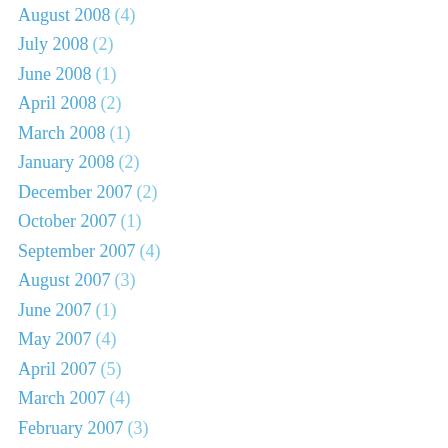August 2008 (4)
July 2008 (2)
June 2008 (1)
April 2008 (2)
March 2008 (1)
January 2008 (2)
December 2007 (2)
October 2007 (1)
September 2007 (4)
August 2007 (3)
June 2007 (1)
May 2007 (4)
April 2007 (5)
March 2007 (4)
February 2007 (3)
January 2007 (2)
December 2006 (3)
November 2006 (3)
October 2006 (7)
September 2006 (3)